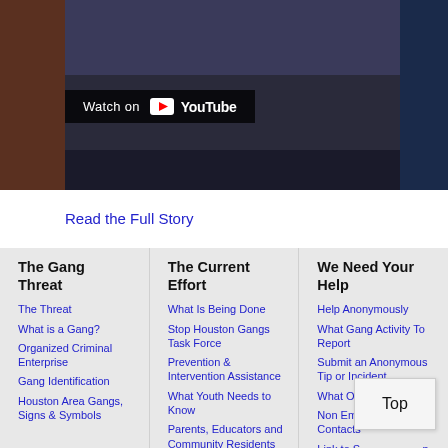[Figure (screenshot): YouTube video thumbnail with 'Watch on YouTube' overlay button, dark background]
Read the Full Story
The Gang Threat
The Threat
What is a Gang?
Organized Criminal Enterprise
Gang Identification
Houston Area Gangs, Signs & Symbols
The Current Effort
What Is Being Done
Stop Houston Gangs Task Force
Prevention & Intervention Assistance
What Youth Needs to Know
Parents, Educators and Community Residents
Gang Graffiti vs. Tagger Graffiti
Other Anti-Gang / Crime Efforts
Gang Awareness/Anti-Gang Info
We Need Your Help
Help Anonymously
What Gang Activity To Report
Submit an Anonymous Tip or Incident
What Others Say
Non Emergency Contacts
Link to Stop Houston Gangs
Terms, Conditions and Privacy Policy
Dejar de Pandillas Houston En Español